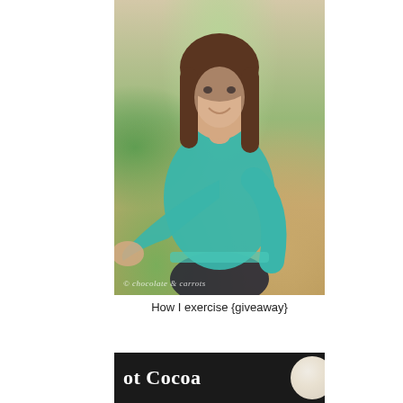[Figure (photo): A young woman with long brown hair, smiling and wearing a teal/turquoise long-sleeve top with dark pants, reaching her fist toward the camera in an outdoor setting with green foliage and autumn leaves. Watermark text reads '© chocolate & carrots' at the bottom left.]
How I exercise {giveaway}
[Figure (photo): Partial view of a dark background with white bold text reading 'ot Cocoa' (part of 'Hot Cocoa') and a partial white circular object (likely a mug with marshmallows) on the right side.]